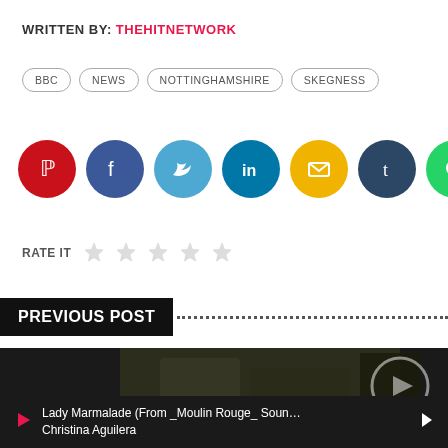WRITTEN BY: THEHITNETWORK
BBC
NEWS
NOTTINGHAMSHIRE
SKEGNESS
[Figure (infographic): Social share buttons: Pinterest (red), Facebook (dark blue), Twitter (light blue), LinkedIn (teal), Email (yellow), Tumblr (dark navy), WhatsApp (green)]
RATE IT ☆ ☆ ☆ ☆ ☆
PREVIOUS POST
[Figure (photo): Previous post thumbnail showing a dark outdoor scene with trees and a building]
Lady Marmalade (From _Moulin Rouge_ Soun… Christina Aguilera